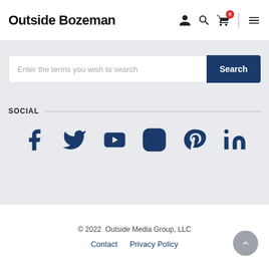Outside Bozeman
[Figure (screenshot): Search bar with text placeholder 'Enter the terms you wish to search' and a dark blue 'Search' button]
SOCIAL
[Figure (infographic): Social media icons: Facebook, Twitter, YouTube, Instagram, Pinterest, LinkedIn — all in dark navy blue]
© 2022  Outside Media Group, LLC
Contact  Privacy Policy